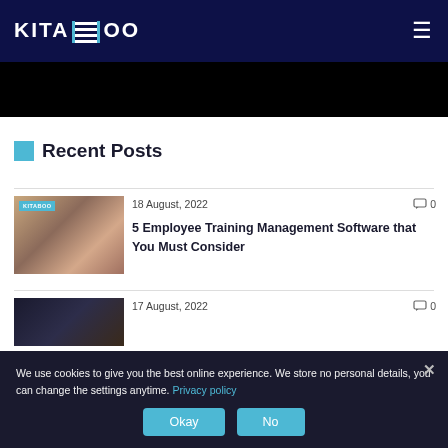KITABOO
[Figure (photo): Dark/black banner image below navbar]
Recent Posts
[Figure (photo): Thumbnail of a woman smiling, seated, with KITABOO label overlay]
18 August, 2022 | 0 comments
5 Employee Training Management Software that You Must Consider
[Figure (photo): Dark thumbnail image for second post]
17 August, 2022 | 0 comments
We use cookies to give you the best online experience. We store no personal details, you can change the settings anytime. Privacy policy
Okay | No